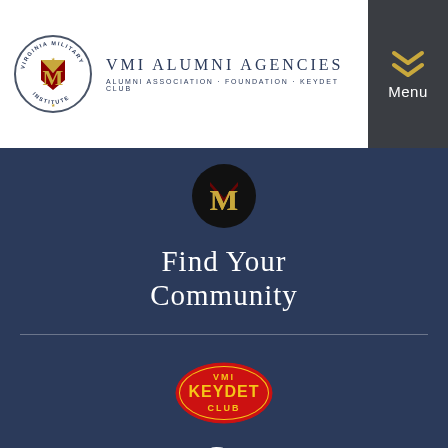[Figure (logo): VMI Alumni Agencies logo with circular VMI seal and text 'VMI ALUMNI AGENCIES, ALUMNI ASSOCIATION • FOUNDATION • KEYDET CLUB']
[Figure (logo): Menu button with chevron/down-arrow icon and 'Menu' label, dark grey background]
[Figure (logo): VMI circular logo badge in black circle with gold/red M emblem]
Find Your Community
[Figure (logo): VMI Keydet Club oval logo: red oval with yellow text 'VMI KEYDET CLUB']
Go Big Red
[Figure (illustration): Gold/yellow illustrated VMI barracks building icon at bottom]